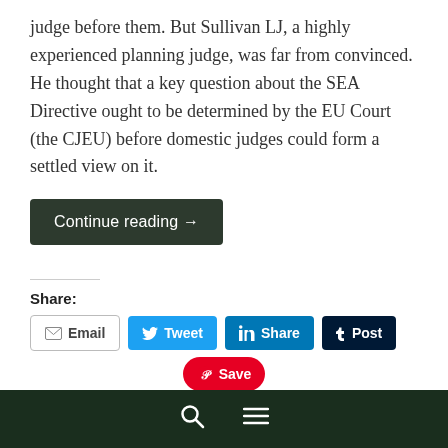judge before them. But Sullivan LJ, a highly experienced planning judge, was far from convinced. He thought that a key question about the SEA Directive ought to be determined by the EU Court (the CJEU) before domestic judges could form a settled view on it.
Continue reading →
Share:
Email  Tweet  Share  Post  Save
Like this:
Like
Be the first to like this.
🔍  ☰